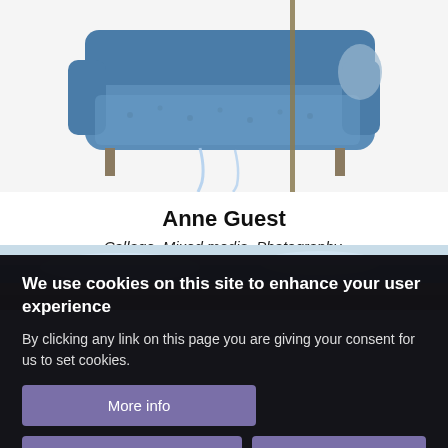[Figure (illustration): Artwork showing a blue sofa/couch with a figure, blue tones, on a light background with a vertical stick or pole]
Anne Guest
Collage, Mixed media, Photography, Printmaking
[Figure (photo): Partial view of a landscape painting with blue sky and land tones]
We use cookies on this site to enhance your user experience
By clicking any link on this page you are giving your consent for us to set cookies.
More info
OK, I agree
Decline